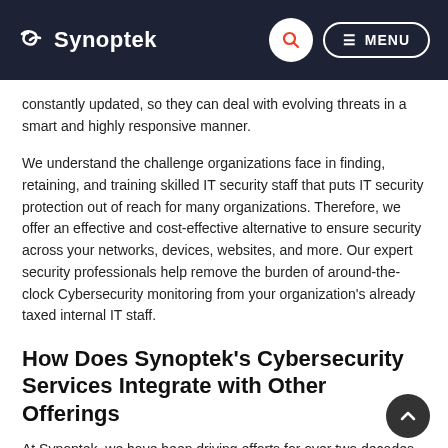Synoptek | MENU
constantly updated, so they can deal with evolving threats in a smart and highly responsive manner.
We understand the challenge organizations face in finding, retaining, and training skilled IT security staff that puts IT security protection out of reach for many organizations. Therefore, we offer an effective and cost-effective alternative to ensure security across your networks, devices, websites, and more. Our expert security professionals help remove the burden of around-the-clock Cybersecurity monitoring from your organization's already taxed internal IT staff.
How Does Synoptek's Cybersecurity Services Integrate with Other Offerings
At Synoptek, we have been driving efforts for over two decades in Cybersecurity monitoring of IT infrastructure. Our specialized team of Cybersecurity experts can carry out ongoing threat